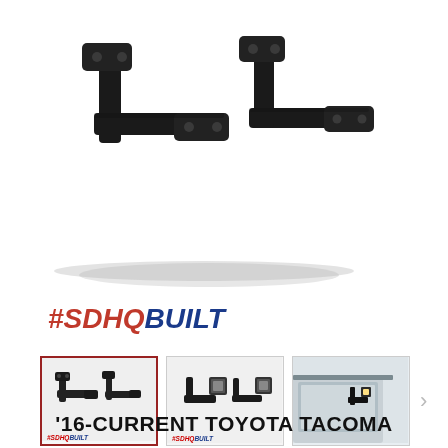[Figure (photo): Two black steel brackets (hood-mount or A-pillar mount style) shown on white background. Parts are flat steel powder-coated black with mounting holes.]
[Figure (logo): #SDHQBUILT logo — #SDHQ in red bold italic, BUILT in blue bold italic]
[Figure (photo): Gallery of three product thumbnails: first (active/selected with red border) shows the bracket pair; second shows brackets with LED cube lights attached; third shows an installed bracket on a vehicle near the hood. A right-arrow navigation button is visible.]
SDHQ Off Road
'16-CURRENT TOYOTA TACOMA